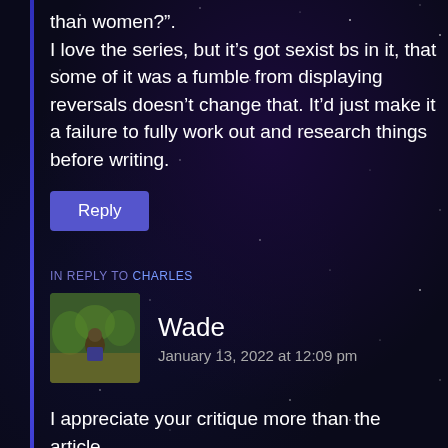than women?". I love the series, but it’s got sexist bs in it, that some of it was a fumble from displaying reversals doesn’t change that. It’d just make it a failure to fully work out and research things before writing.
IN REPLY TO CHARLES
Wade
January 13, 2022 at 12:09 pm
I appreciate your critique more than the article.